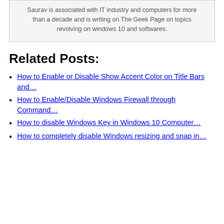Saurav is associated with IT industry and computers for more than a decade and is writing on The Geek Page on topics revolving on windows 10 and softwares.
Related Posts:
How to Enable or Disable Show Accent Color on Title Bars and…
How to Enable/Disable Windows Firewall through Command…
How to disable Windows Key in Windows 10 Computer…
How to completely disable Windows resizing and snap in…